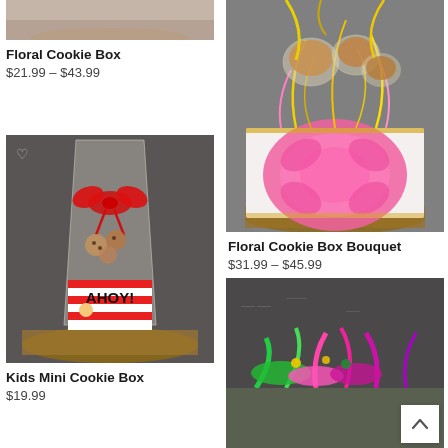[Figure (photo): Partial top of wooden board product image, cropped]
Floral Cookie Box
$21.99 – $43.99
[Figure (photo): Kids mini cookie box in a clear bag with red bow, AHOY pirate themed box, displayed on wooden board]
Kids Mini Cookie Box
$19.99
[Figure (photo): Floral cookie box bouquet in a pink floral box with gold and yellow ribbons and wrapped cookies, on wooden board]
Floral Cookie Box Bouquet
$31.99 – $45.99
[Figure (photo): Partial bottom right product image with colorful green, pink, magenta ribbons on dark chalkboard background]